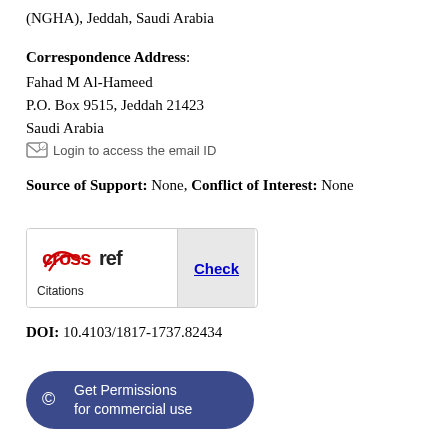(NGHA), Jeddah, Saudi Arabia
Correspondence Address:
Fahad M Al-Hameed
P.O. Box 9515, Jeddah 21423
Saudi Arabia
Login to access the email ID
Source of Support: None, Conflict of Interest: None
[Figure (logo): Crossref Citations logo with Check button]
DOI: 10.4103/1817-1737.82434
Get Permissions for commercial use
Venous thromboembolism (VTE) is a spectrum of diseases involving deep venous thrombosis (DVT) and/or pulmonary embolism (PE). Without prophylaxis, the